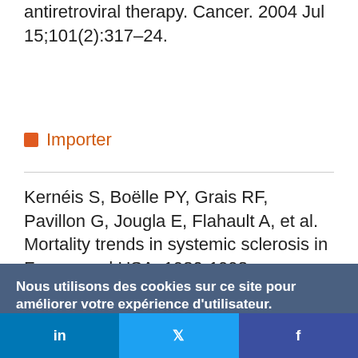antiretroviral therapy. Cancer. 2004 Jul 15;101(2):317–24.
■ Importer
Kernéis S, Boëlle PY, Grais RF, Pavillon G, Jougla E, Flahault A, et al. Mortality trends in systemic sclerosis in France and USA, 1980-1998: an age-
Nous utilisons des cookies sur ce site pour améliorer votre expérience d'utilisateur.

En cliquant sur un lien de cette page, vous nous donnez votre consentement de définir des cookies.

[Oui, je suis d'accord] [Plus d'infos]
in  𝕏  f